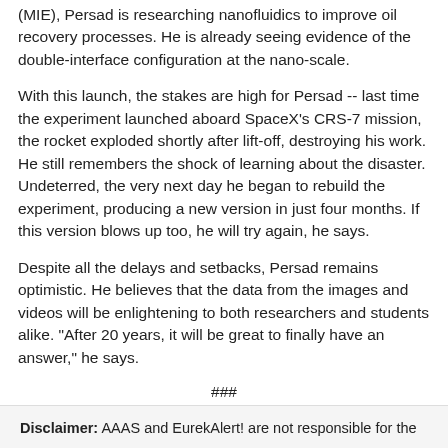(MIE), Persad is researching nanofluidics to improve oil recovery processes. He is already seeing evidence of the double-interface configuration at the nano-scale.
With this launch, the stakes are high for Persad -- last time the experiment launched aboard SpaceX's CRS-7 mission, the rocket exploded shortly after lift-off, destroying his work. He still remembers the shock of learning about the disaster. Undeterred, the very next day he began to rebuild the experiment, producing a new version in just four months. If this version blows up too, he will try again, he says.
Despite all the delays and setbacks, Persad remains optimistic. He believes that the data from the images and videos will be enlightening to both researchers and students alike. "After 20 years, it will be great to finally have an answer," he says.
###
Disclaimer: AAAS and EurekAlert! are not responsible for the